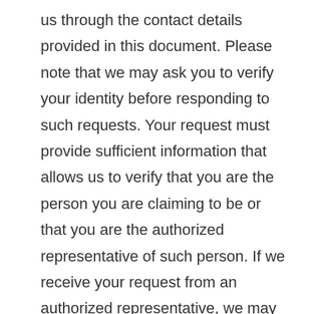us through the contact details provided in this document. Please note that we may ask you to verify your identity before responding to such requests. Your request must provide sufficient information that allows us to verify that you are the person you are claiming to be or that you are the authorized representative of such person. If we receive your request from an authorized representative, we may request evidence that you have provided such an authorized representative with power of attorney or that the authorized representative otherwise has valid written authority to submit requests on your behalf.
You must include sufficient details to allow us to properly